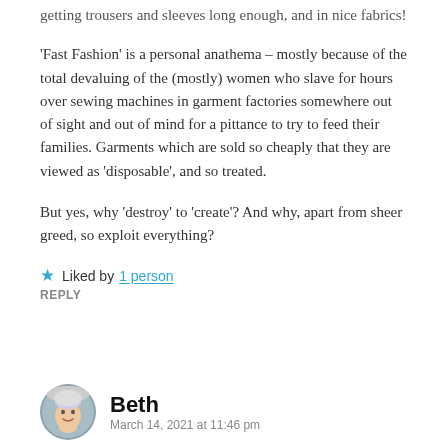getting trousers and sleeves long enough, and in nice fabrics!
'Fast Fashion' is a personal anathema – mostly because of the total devaluing of the (mostly) women who slave for hours over sewing machines in garment factories somewhere out of sight and out of mind for a pittance to try to feed their families. Garments which are sold so cheaply that they are viewed as 'disposable', and so treated.
But yes, why 'destroy' to 'create'? And why, apart from sheer greed, so exploit everything?
★ Liked by 1 person
REPLY
Beth
March 14, 2021 at 11:46 pm